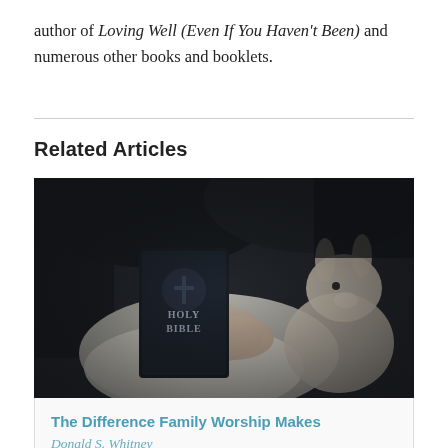author of Loving Well (Even If You Haven't Been) and numerous other books and booklets.
Related Articles
[Figure (photo): Dark-toned photograph of hands holding a Holy Bible with a stuffed animal (white/beige rabbit or bear) visible to the right, set in a cozy, dim domestic setting.]
The Difference Family Worship Makes
Donald S. Whitney